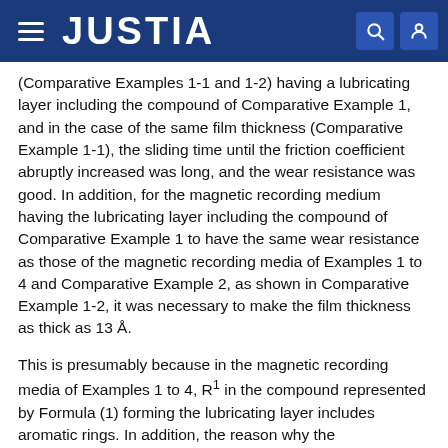JUSTIA
(Comparative Examples 1-1 and 1-2) having a lubricating layer including the compound of Comparative Example 1, and in the case of the same film thickness (Comparative Example 1-1), the sliding time until the friction coefficient abruptly increased was long, and the wear resistance was good. In addition, for the magnetic recording medium having the lubricating layer including the compound of Comparative Example 1 to have the same wear resistance as those of the magnetic recording media of Examples 1 to 4 and Comparative Example 2, as shown in Comparative Example 1-2, it was necessary to make the film thickness as thick as 13 Å.
This is presumably because in the magnetic recording media of Examples 1 to 4, R1 in the compound represented by Formula (1) forming the lubricating layer includes aromatic rings. In addition, the reason why the